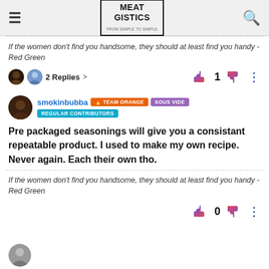MEAT GISTICS
If the women don't find you handsome, they should at least find you handy - Red Green
2 Replies >   1
smokinbubba  TEAM ORANGE  SOUS VIDE  REGULAR CONTRIBUTORS
Pre packaged seasonings will give you a consistant repeatable product. I used to make my own recipe. Never again. Each their own tho.
If the women don't find you handsome, they should at least find you handy - Red Green
0